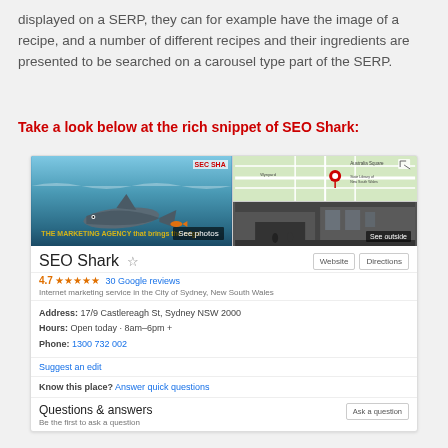displayed on a SERP, they can for example have the image of a recipe, and a number of different recipes and their ingredients are presented to be searched on a carousel type part of the SERP.
Take a look below at the rich snippet of SEO Shark:
[Figure (screenshot): A Google rich snippet / knowledge panel for SEO Shark showing photos, map, business name with rating 4.7 (30 Google reviews), address 17/9 Castlereagh St Sydney NSW 2000, hours Open today 8am-6pm+, phone 1300 732 002, Suggest an edit, Know this place? Answer quick questions, and Questions & answers section.]